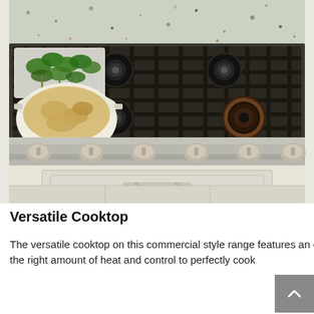[Figure (photo): Overhead view of a stainless steel commercial-style gas range cooktop with four burners and cast iron grates. A white casserole dish with pasta and a rectangular pan with broccoli rabe sit on the grates. Below the cooktop are stainless steel knobs and cabinet doors. A granite backsplash is visible at the top.]
Versatile Cooktop
The versatile cooktop on this commercial style range features an entire arsenal of burners that give you the right amount of heat and control to perfectly cook anything from delicate sauces to a roaring sear.